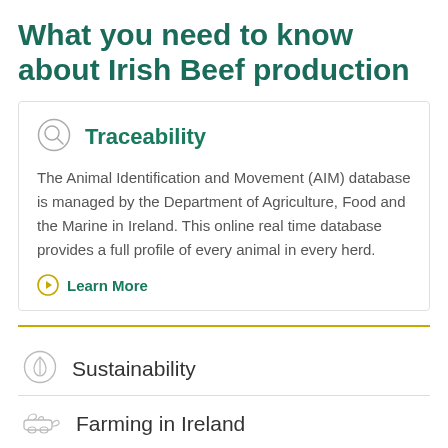What you need to know about Irish Beef production
Traceability
The Animal Identification and Movement (AIM) database is managed by the Department of Agriculture, Food and the Marine in Ireland. This online real time database provides a full profile of every animal in every herd.
Learn More
Sustainability
Farming in Ireland